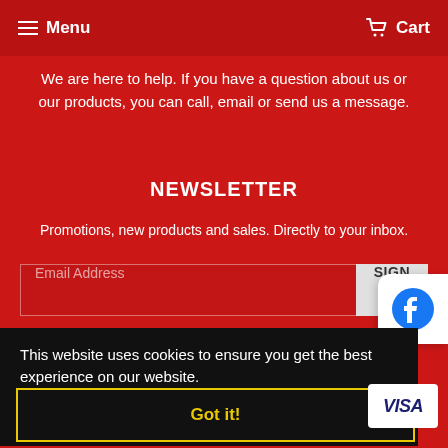Menu   Cart
We are here to help. If you have a question about us or our products, you can call, email or send us a message.
NEWSLETTER
Promotions, new products and sales. Directly to your inbox.
Email Address  SIGN
[Figure (logo): Facebook circular logo icon, blue with white 'f']
This website uses cookies to ensure you get the best experience on our website.
Learn More
Got it!
[Figure (logo): VISA payment logo in blue italic text on white background]